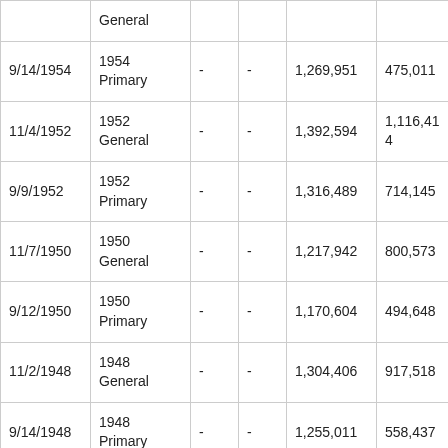| Date | Election |  |  | Total Votes | Col6 |
| --- | --- | --- | --- | --- | --- |
|  | General |  |  |  |  |
| 9/14/1954 | 1954 Primary | - | - | 1,269,951 | 475,011 |
| 11/4/1952 | 1952 General | - | - | 1,392,594 | 1,116,414 |
| 9/9/1952 | 1952 Primary | - | - | 1,316,489 | 714,145 |
| 11/7/1950 | 1950 General | - | - | 1,217,942 | 800,573 |
| 9/12/1950 | 1950 Primary | - | - | 1,170,604 | 494,648 |
| 11/2/1948 | 1948 General | - | - | 1,304,406 | 917,518 |
| 9/14/1948 | 1948 Primary | - | - | 1,255,011 | 558,437 |